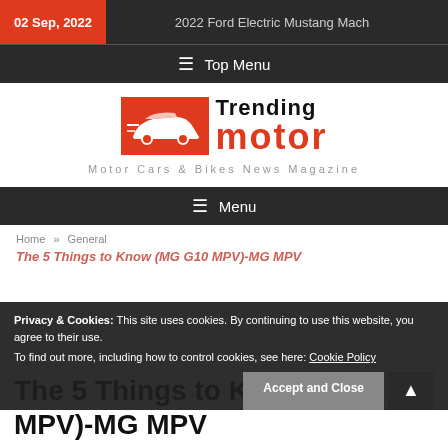02 Sep, 2022 | 2022 Ford Electric Mustang Mach
≡ Top Menu
[Figure (logo): Trending motor logo with red car silhouette icon and red/black wordmark]
Motor Cars & Bikes News Magazine
≡ Menu
Home » General
The 5 Things to Know (MG G10 MPV)-MG MPV
Privacy & Cookies: This site uses cookies. By continuing to use this website, you agree to their use. To find out more, including how to control cookies, see here: Cookie Policy
Accept and Close
The 5 Things to Know (MG G10 MPV)-MG MPV